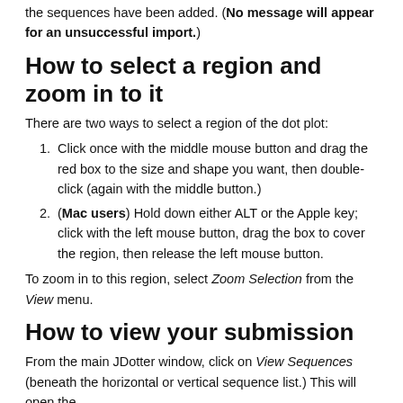the sequences have been added. (No message will appear for an unsuccessful import.)
How to select a region and zoom in to it
There are two ways to select a region of the dot plot:
Click once with the middle mouse button and drag the red box to the size and shape you want, then double-click (again with the middle button.)
(Mac users) Hold down either ALT or the Apple key; click with the left mouse button, drag the box to cover the region, then release the left mouse button.
To zoom in to this region, select Zoom Selection from the View menu.
How to view your submission
From the main JDotter window, click on View Sequences (beneath the horizontal or vertical sequence list.) This will open the